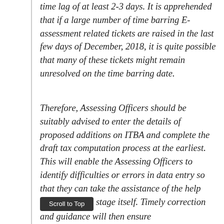time lag of at least 2-3 days. It is apprehended that if a large number of time barring E-assessment related tickets are raised in the last few days of December, 2018, it is quite possible that many of these tickets might remain unresolved on the time barring date.
Therefore, Assessing Officers should be suitably advised to enter the details of proposed additions on ITBA and complete the draft tax computation process at the earliest. This will enable the Assessing Officers to identify difficulties or errors in data entry so that they can take the assistance of the helpdesk at an early stage itself. Timely correction and guidance will then ensure